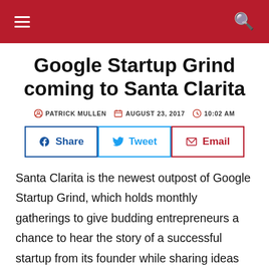Navigation header with menu and search icons
Google Startup Grind coming to Santa Clarita
PATRICK MULLEN  AUGUST 23, 2017  10:02 AM
Santa Clarita is the newest outpost of Google Startup Grind, which holds monthly gatherings to give budding entrepreneurs a chance to hear the story of a successful startup from its founder while sharing ideas and experiences with each other.